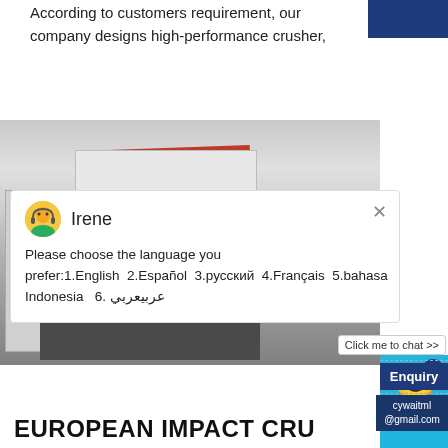According to customers requirement, our company designs high-performance crusher,
[Figure (photo): Industrial impact crusher machine, white/grey body with red accent, large black wheel with red trim, photographed in an indoor facility]
Irene
Please choose the language you prefer:1.English  2.Español  3.русский  4.Français  5.bahasa Indonesia   6. عربيعربي
EUROPEAN IMPACT CRU
Enquiry
cywaitml
@gmail.com